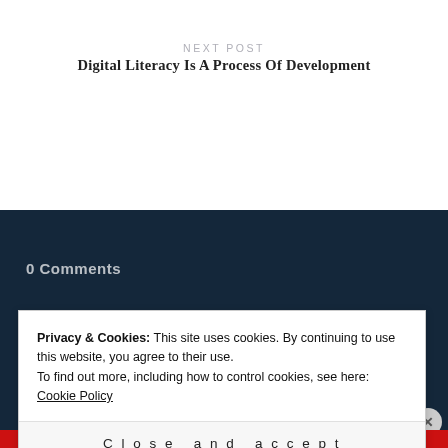NEXT POST
Digital Literacy Is A Process Of Development
Privacy & Cookies: This site uses cookies. By continuing to use this website, you agree to their use.
To find out more, including how to control cookies, see here: Cookie Policy
Close and accept